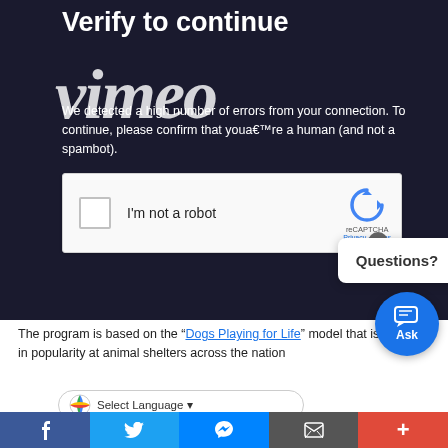[Figure (screenshot): Screenshot of a Vimeo 'Verify to continue' page with reCAPTCHA checkbox, a 'Questions?' popup tooltip, and a blue 'Ask' chat button. The Vimeo logo is overlaid in large italic white text over the dark background. Below the dark section is body text about a dog program, a Google Translate language selector bar, and a bottom social sharing bar with Facebook, Twitter, Messenger, email, and more buttons.]
Verify to continue
We detected a high number of errors from your connection. To continue, please confirm that youa€™re a human (and not a spambot).
I'm not a robot
reCAPTCHA
Privacy · Terms
Questions?
Ask
The program is based on the “Dogs Playing for Life” model that is growing in popularity at animal shelters across the nation
Select Language